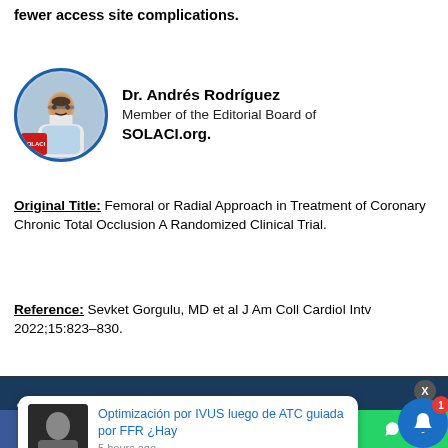fewer access site complications.
Dr. Andrés Rodríguez
Member of the Editorial Board of
SOLACI.org.
Original Title: Femoral or Radial Approach in Treatment of Coronary Chronic Total Occlusion A Randomized Clinical Trial.
Reference: Sevket Gorgulu, MD et al J Am Coll Cardiol Intv 2022;15:823–830.
[Figure (photo): Circular profile photo of Dr. Andrés Rodríguez with SOLACI logo badge at bottom-left of the circle]
[Figure (screenshot): Subscribe to our weekly newsletter banner with dark blue background]
[Figure (screenshot): Popup notification: Optimización por IVUS luego de ATC guiada por FFR ¿Hay - 5 hours ago]
[Figure (screenshot): Social media sharing bar with Facebook, Twitter, LinkedIn, WhatsApp icons and notification bell]